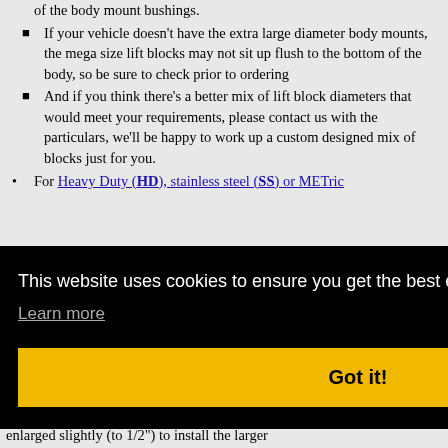of the body mount bushings.
If your vehicle doesn't have the extra large diameter body mounts, the mega size lift blocks may not sit up flush to the bottom of the body, so be sure to check prior to ordering
And if you think there's a better mix of lift block diameters that would meet your requirements, please contact us with the particulars, we'll be happy to work up a custom designed mix of blocks just for you.
For Heavy Duty (HD), stainless steel (SS) or METric
[Figure (screenshot): Cookie consent banner overlay with black background, white text saying 'This website uses cookies to ensure you get the best experience on our website.', a 'Learn more' link, and a yellow 'Got it!' button]
enlarged slightly (to 1/2") to install the larger